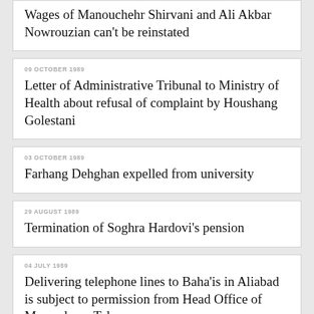Wages of Manouchehr Shirvani and Ali Akbar Nowrouzian can't be reinstated
09 OCTOBER 1989
Letter of Administrative Tribunal to Ministry of Health about refusal of complaint by Houshang Golestani
03 OCTOBER 1989
Farhang Dehghan expelled from university
29 AUGUST 1989
Termination of Soghra Hardovi's pension
04 JULY 1989
Delivering telephone lines to Baha'is in Aliabad is subject to permission from Head Office of Mazandaran Telecom